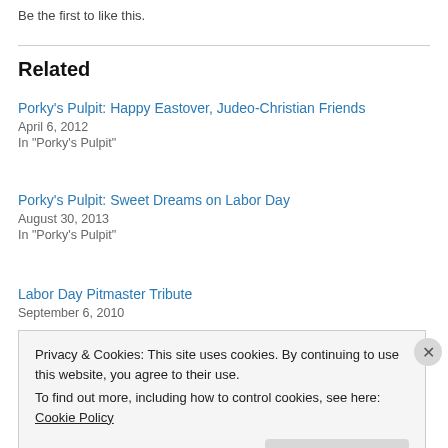Be the first to like this.
Related
Porky's Pulpit: Happy Eastover, Judeo-Christian Friends
April 6, 2012
In "Porky's Pulpit"
Porky's Pulpit: Sweet Dreams on Labor Day
August 30, 2013
In "Porky's Pulpit"
Labor Day Pitmaster Tribute
September 6, 2010
Privacy & Cookies: This site uses cookies. By continuing to use this website, you agree to their use. To find out more, including how to control cookies, see here: Cookie Policy